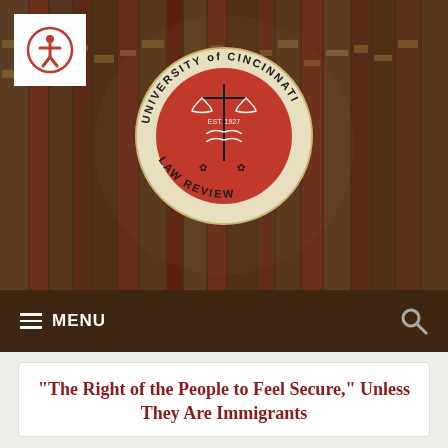[Figure (illustration): University of Cincinnati Law Review website header. Blurred law books in background (brown/red tones). White square with accessibility icon (person in circle) in upper left. Circular seal in center: University of Cincinnati Law Review, EST. 1927, red background with scales of justice and caduceus.]
≡ MENU
“The Right of the People to Feel Secure,” Unless They Are Immigrants